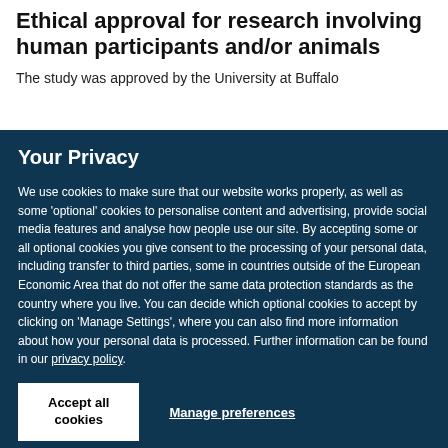Ethical approval for research involving human participants and/or animals
The study was approved by the University at Buffalo
Your Privacy
We use cookies to make sure that our website works properly, as well as some ‘optional’ cookies to personalise content and advertising, provide social media features and analyse how people use our site. By accepting some or all optional cookies you give consent to the processing of your personal data, including transfer to third parties, some in countries outside of the European Economic Area that do not offer the same data protection standards as the country where you live. You can decide which optional cookies to accept by clicking on ‘Manage Settings’, where you can also find more information about how your personal data is processed. Further information can be found in our privacy policy.
Accept all cookies
Manage preferences